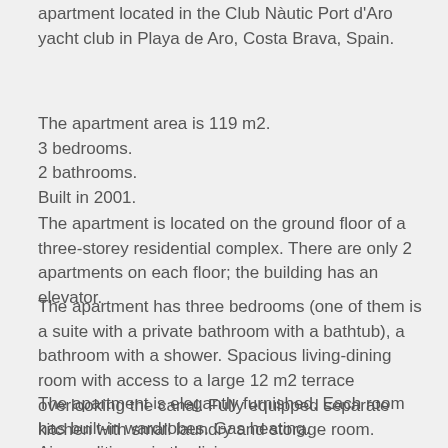apartment located in the Club Nàutic Port d'Aro yacht club in Playa de Aro, Costa Brava, Spain.
The apartment area is 119 m2.
3 bedrooms.
2 bathrooms.
Built in 2001.
The apartment is located on the ground floor of a three-storey residential complex. There are only 2 apartments on each floor; the building has an elevator.
The apartment has three bedrooms (one of them is a suite with a private bathroom with a bathtub), a bathroom with a shower. Spacious living-dining room with access to a large 12 m2 terrace overlooking the canal. Fully equipped separate kitchen with small laundry and storage room.
The apartment is elegantly furnished. Each room has built-in wardrobes. Gas heating.
Air conditioner in the living room.
Electric blinds.